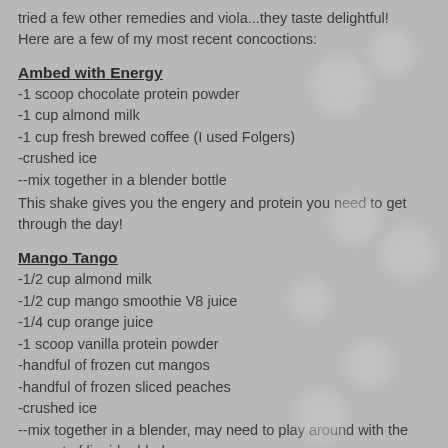tried a few other remedies and viola...they taste delightful! Here are a few of my most recent concoctions:
Ambed with Energy
-1 scoop chocolate protein powder
-1 cup almond milk
-1 cup fresh brewed coffee (I used Folgers)
-crushed ice
--mix together in a blender bottle
This shake gives you the engery and protein you need to get through the day!
Mango Tango
-1/2 cup almond milk
-1/2 cup mango smoothie V8 juice
-1/4 cup orange juice
-1 scoop vanilla protein powder
-handful of frozen cut mangos
-handful of frozen sliced peaches
-crushed ice
--mix together in a blender, may need to play around with the amount of liquid added